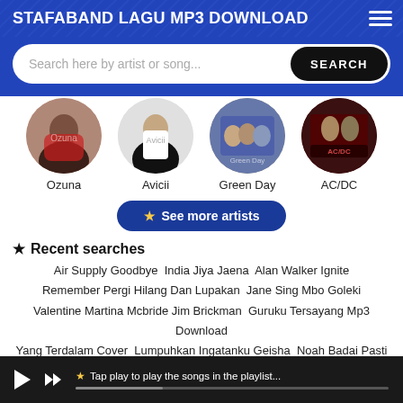STAFABAND LAGU MP3 DOWNLOAD
[Figure (screenshot): Search bar with placeholder 'Search here by artist or song...' and a SEARCH button]
[Figure (photo): Row of four circular artist photos: Ozuna, Avicii, Green Day, AC/DC]
★ See more artists
★ Recent searches
Air Supply Goodbye  India Jiya Jaena  Alan Walker Ignite  Remember Pergi Hilang Dan Lupakan  Jane Sing Mbo Goleki  Valentine Martina Mcbride Jim Brickman  Guruku Tersayang Mp3 Download  Yang Terdalam Cover  Lumpuhkan Ingatanku Geisha  Noah Badai Pasti Berlalu  Ebiet Tanyakan Pada Rumput Yang Bergoyang  Beautifulie  Ruri Feat Cynthia Pesan Dari Hati  Takur  Papercut Linkin Park  Orkes Sakit Hati Mp3 Download  Sris Smartfren  Yuni Shara
★ Tap play to play the songs in the playlist...